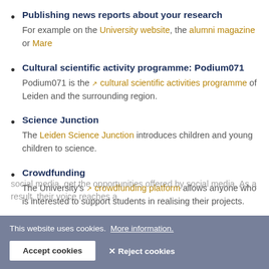Publishing news reports about your research — For example on the University website, the alumni magazine or Mare
Cultural scientific activity programme: Podium071 — Podium071 is the cultural scientific activities programme of Leiden and the surrounding region.
Science Junction — The Leiden Science Junction introduces children and young children to science.
Crowdfunding — The University's crowdfunding platform allows anyone who is interested to support students in realising their projects.
[partially visible text behind cookie banner about social media and opportunities]
This website uses cookies. More information. [Accept cookies] [Reject cookies]